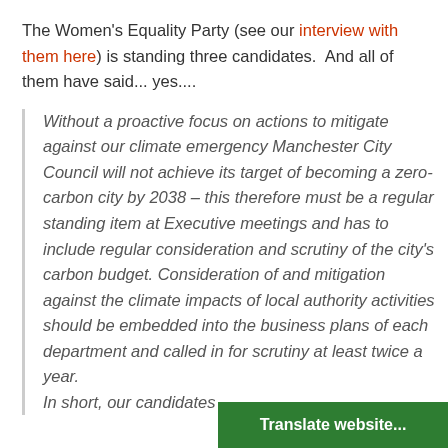The Women's Equality Party (see our interview with them here) is standing three candidates.  And all of them have said... yes....
Without a proactive focus on actions to mitigate against our climate emergency Manchester City Council will not achieve its target of becoming a zero-carbon city by 2038 – this therefore must be a regular standing item at Executive meetings and has to include regular consideration and scrutiny of the city's carbon budget. Consideration of and mitigation against the climate impacts of local authority activities should be embedded into the business plans of each department and called in for scrutiny at least twice a year. In short, our candidates
Translate website...